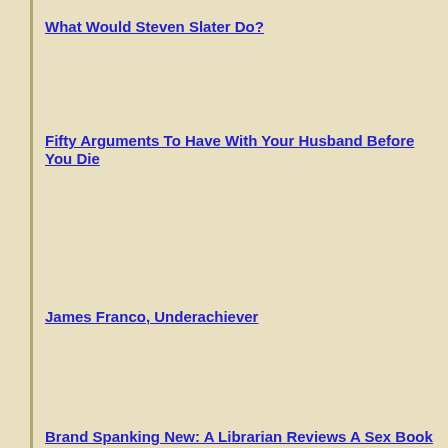What Would Steven Slater Do?
Fifty Arguments To Have With Your Husband Before You Die
James Franco, Underachiever
Brand Spanking New: A Librarian Reviews A Sex Book
I Hate Everybody... Starting With Me: A Shocking Book Review
Thanks For Trying To Ruin My Day!